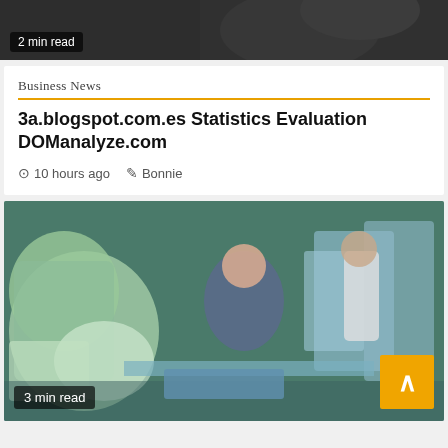[Figure (photo): Dark/blurry top portion of a photo showing a person, partially cropped]
2 min read
Business News
3a.blogspot.com.es Statistics Evaluation DOManalyze.com
10 hours ago   Bonnie
[Figure (photo): Two men working in what appears to be a workshop or industrial setting with machinery and equipment around them]
3 min read